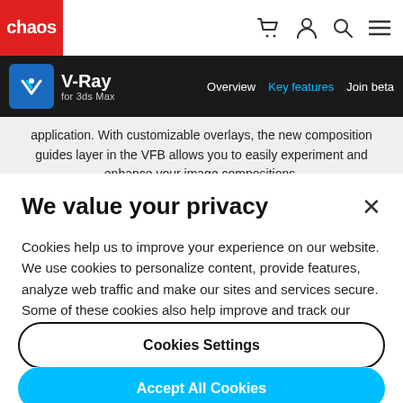chaos — navigation bar with cart, user, search, menu icons
V-Ray for 3ds Max — Overview | Key features | Join beta
application. With customizable overlays, the new composition guides layer in the VFB allows you to easily experiment and enhance your image compositions.
We value your privacy
Cookies help us to improve your experience on our website. We use cookies to personalize content, provide features, analyze web traffic and make our sites and services secure. Some of these cookies also help improve and track our marketing efforts
Cookies Settings
Accept All Cookies